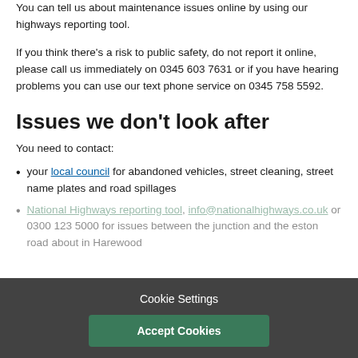You can tell us about maintenance issues online by using our highways reporting tool.
If you think there's a risk to public safety, do not report it online, please call us immediately on 0345 603 7631 or if you have hearing problems you can use our text phone service on 0345 758 5592.
Issues we don't look after
You need to contact:
your local council for abandoned vehicles, street cleaning, street name plates and road spillages
National Highways reporting tool, info@nationalhighways.co.uk or 0300 123 5000 for issues between the junction and theeston road about in Harewood